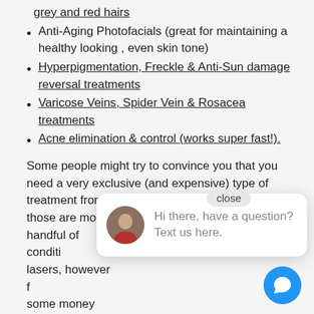grey and red hairs
Anti-Aging Photofacials (great for maintaining a healthy looking , even skin tone)
Hyperpigmentation, Freckle & Anti-Sun damage reversal treatments
Varicose Veins, Spider Vein & Rosacea treatments
Acne elimination & control (works super fast!).
Some people might try to convince you that you need a very exclusive (and expensive) type of treatment from a specific machine, but honestly those are mostly BS. There handful of conditions that can only be treated with specific lasers, however for the most part, you can save yourself some money and still get great results. You don’t always need of a doctor with all these fancy machines, but we will always tell you and even refer you to local specialists.
Normally only black & brown hairs are treatable using a laser or IPL platform, but another really cool feature of this platform is that it holds the unique ability to treat light colored blond, white, grey & red hairs. What's interesting